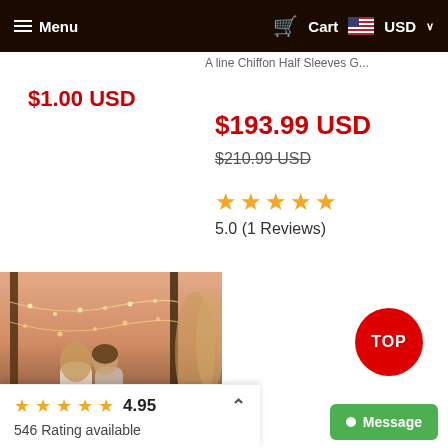Menu  Cart  USD
A line Chiffon Half Sleeves G...
$1.00 USD
$193.99 USD
$210.99 USD
5.0 (1 Reviews)
[Figure (photo): Couple in romantic outdoor setting with fairy lights and warm sunset tones]
4.95
546 Rating available
TOP
Message